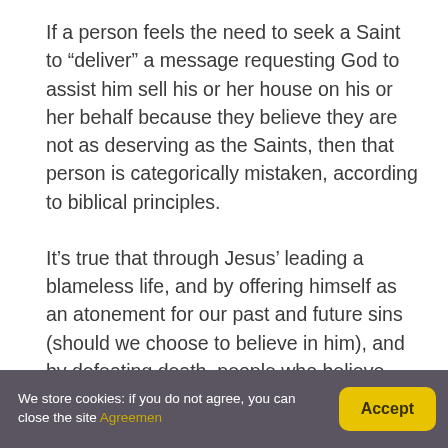If a person feels the need to seek a Saint to “deliver” a message requesting God to assist him sell his or her house on his or her behalf because they believe they are not as deserving as the Saints, then that person is categorically mistaken, according to biblical principles.
It’s true that through Jesus’ leading a blameless life, and by offering himself as an atonement for our past and future sins (should we choose to believe in him), and by defeating death, people who believe can state that they are at peace with God and that they are
We store cookies: if you do not agree, you can close the site Agreemen  Accept